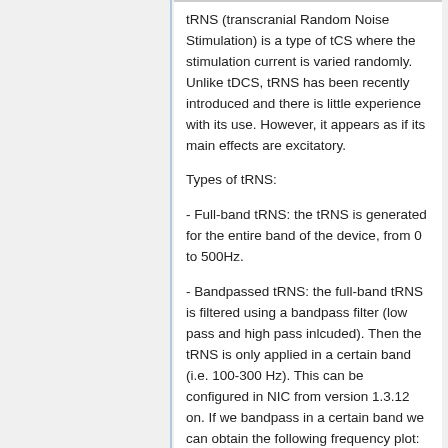tRNS (transcranial Random Noise Stimulation) is a type of tCS where the stimulation current is varied randomly. Unlike tDCS, tRNS has been recently introduced and there is little experience with its use. However, it appears as if its main effects are excitatory.
Types of tRNS:
- Full-band tRNS: the tRNS is generated for the entire band of the device, from 0 to 500Hz.
- Bandpassed tRNS: the full-band tRNS is filtered using a bandpass filter (low pass and high pass inlcuded). Then the tRNS is only applied in a certain band (i.e. 100-300 Hz). This can be configured in NIC from version 1.3.12 on. If we bandpass in a certain band we can obtain the following frequency plot: